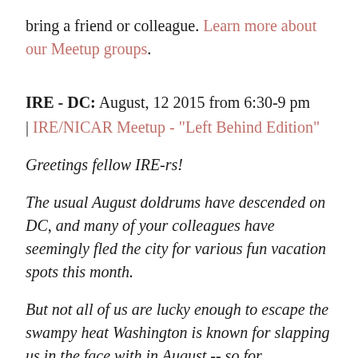bring a friend or colleague. Learn more about our Meetup groups.
IRE - DC: August, 12 2015 from 6:30-9 pm
| IRE/NICAR Meetup - "Left Behind Edition"
Greetings fellow IRE-rs!
The usual August doldrums have descended on DC, and many of your colleagues have seemingly fled the city for various fun vacation spots this month.
But not all of us are lucky enough to escape the swampy heat Washington is known for slapping us in the face with in August -- so for